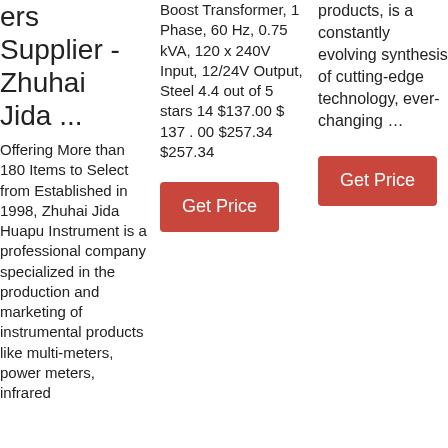ers Supplier - Zhuhai Jida ...
Offering More than 180 Items to Select from Established in 1998, Zhuhai Jida Huapu Instrument is a professional company specialized in the production and marketing of instrumental products like multi-meters, power meters, infrared
Boost Transformer, 1 Phase, 60 Hz, 0.75 kVA, 120 x 240V Input, 12/24V Output, Steel 4.4 out of 5 stars 14 $137.00 $ 137 . 00 $257.34 $257.34
Get Price
products, is a constantly evolving synthesis of cutting-edge technology, ever-changing …
Get Price